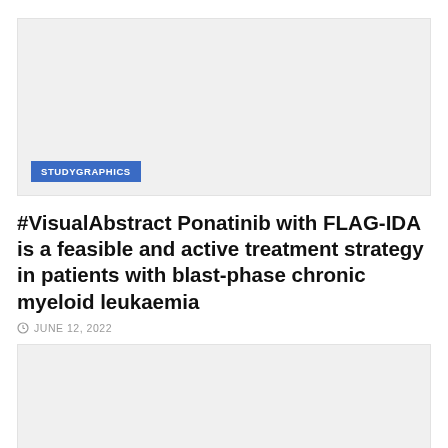[Figure (photo): Light gray image placeholder area with a STUDYGRAPHICS label badge in the lower left corner]
#VisualAbstract Ponatinib with FLAG-IDA is a feasible and active treatment strategy in patients with blast-phase chronic myeloid leukaemia
JUNE 12, 2022
[Figure (photo): Light gray image placeholder area at the bottom of the page]